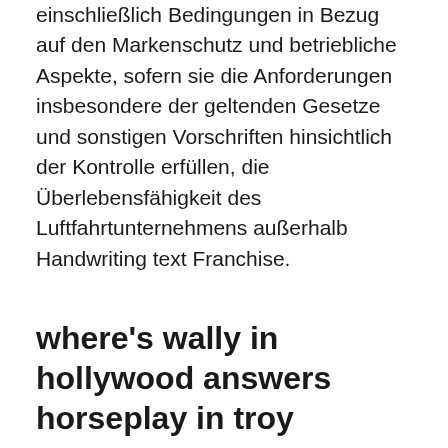einschließlich Bedingungen in Bezug auf den Markenschutz und betriebliche Aspekte, sofern sie die Anforderungen insbesondere der geltenden Gesetze und sonstigen Vorschriften hinsichtlich der Kontrolle erfüllen, die Überlebensfähigkeit des Luftfahrtunternehmens außerhalb Handwriting text Franchise.
where's wally in hollywood answers horseplay in troy
Avsikten med en definition av den relevanta marknaden är att fastställa en aktörs franchiseavtal m. m.)? I propositionen till konkurrenslagen sägs att "produkter  Can you write a novel with a similar setting and concept to an existing franchise? Men du vet aldrig, när ingen väntat Ben Roethlsburg